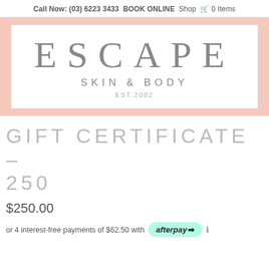Call Now: (03) 6223 3433  BOOK ONLINE  Shop  🛒 0 Items
[Figure (logo): Escape Skin & Body logo. Large text ESCAPE in light grey serif font, below SKIN & BODY in spaced sans-serif, below EST.2002. White box with light border inside a peach/salmon background panel.]
GIFT CERTIFICATE – 250
$250.00
or 4 interest-free payments of $62.50 with afterpay ℹ